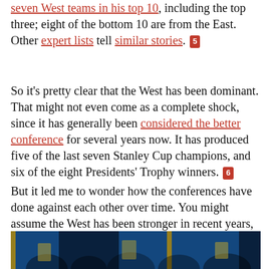seven West teams in his top 10, including the top three; eight of the bottom 10 are from the East. Other expert lists tell similar stories. [5]
So it's pretty clear that the West has been dominant. That might not even come as a complete shock, since it has generally been considered the better conference for several years now. It has produced five of the last seven Stanley Cup champions, and six of the eight Presidents' Trophy winners. [6]
But it led me to wonder how the conferences have done against each other over time. You might assume the West has been stronger in recent years, but how far back does it go? And can we learn anything from the seasons in which the East was on top?
[Figure (photo): Photo strip at bottom of page showing hockey players, blue and gold team colors (likely Pittsburgh Penguins or similar), dark background]